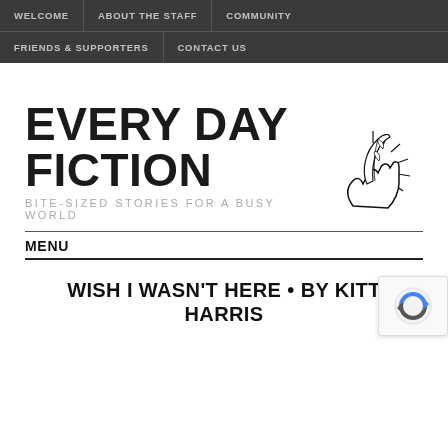WELCOME | ABOUT THE STAFF | COMMUNITY | FRIENDS & SUPPORTERS | CONTACT US
EVERY DAY FICTION
BITE-SIZED STORIES FOR A BUSY WORLD
[Figure (illustration): Hand holding a quill pen writing, with a starburst behind it — the Every Day Fiction logo]
MENU
WISH I WASN'T HERE • BY KITT HARRIS